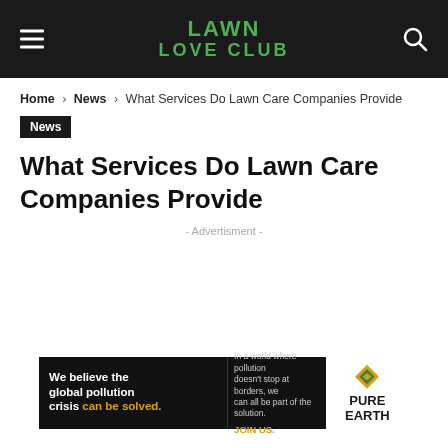LAWN LOVE CLUB
Home › News › What Services Do Lawn Care Companies Provide
News
What Services Do Lawn Care Companies Provide
- Advertisment -
[Figure (other): Pure Earth advertisement banner: 'We believe the global pollution crisis can be solved. In a world where pollution doesn't stop at borders, we can all be part of the solution. JOIN US.' with Pure Earth logo.]